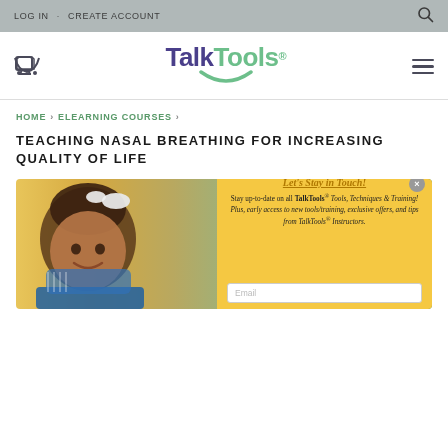LOG IN · CREATE ACCOUNT
[Figure (logo): TalkTools logo with purple 'Talk' and green 'Tools' text and a green smile arc below]
HOME › ELEARNING COURSES ›
TEACHING NASAL BREATHING FOR INCREASING QUALITY OF LIFE
[Figure (photo): Course hero image showing a smiling baby with a bow in her hair, sitting in a blue chair with a warm golden background]
[Figure (infographic): Popup overlay with gold background titled 'Let's Stay in Touch!' asking users to stay up-to-date on TalkTools Tools, Techniques & Training with an email input field]